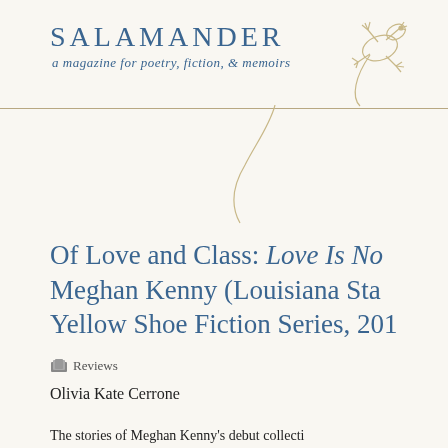[Figure (logo): Salamander magazine header with logo text 'SALAMANDER', subtitle 'a magazine for poetry, fiction, & memoirs', and a line-art gecko/salamander illustration in tan/gold]
Of Love and Class: Love Is No... Meghan Kenny (Louisiana Sta... Yellow Shoe Fiction Series, 201...
Reviews
Olivia Kate Cerrone
The stories of Meghan Kenny's debut collecti...